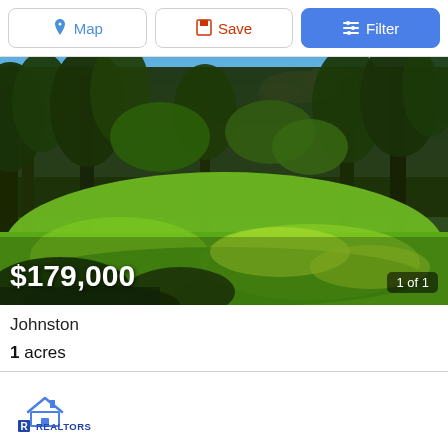[Figure (screenshot): Toolbar with Map, Save, and Filter buttons]
[Figure (photo): Wooded land parcel with lush green vegetation and trees under blue sky. Price overlay: $179,000. Image counter: 1 of 1.]
Johnston
1 acres
[Figure (logo): REALTORS logo with house icon and R symbol]